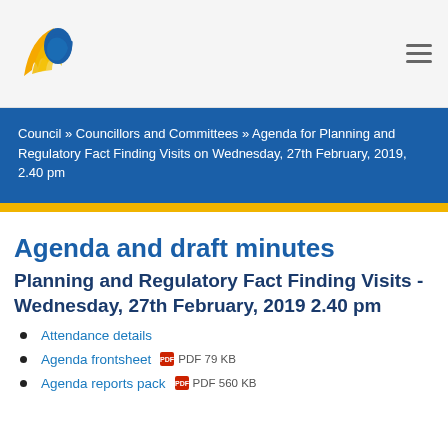[Figure (logo): Council logo with yellow wing/flame shape and blue face profile silhouette]
Council » Councillors and Committees » Agenda for Planning and Regulatory Fact Finding Visits on Wednesday, 27th February, 2019, 2.40 pm
Agenda and draft minutes
Planning and Regulatory Fact Finding Visits - Wednesday, 27th February, 2019 2.40 pm
Attendance details
Agenda frontsheet  PDF 79 KB
Agenda reports pack  PDF 560 KB